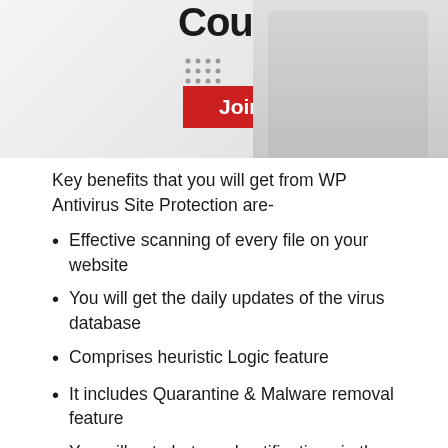[Figure (illustration): Banner image showing 'Courses' text in bold with a red 'Join Now' button and a person with crossed arms on the right side]
Key benefits that you will get from WP Antivirus Site Protection are-
Effective scanning of every file on your website
You will get the daily updates of the virus database
Comprises heuristic Logic feature
It includes Quarantine & Malware removal feature
You will get alerts and notifications in the admin area and by email
It can detect a wide list of malware types
You can view Security reports online